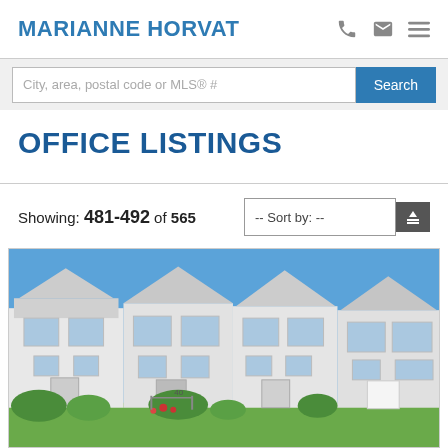MARIANNE HORVAT
City, area, postal code or MLS® #
OFFICE LISTINGS
Showing: 481-492 of 565
[Figure (photo): Exterior photo of a white townhouse complex with multiple units, siding, windows, front entrance with stairs, blue sky background, green shrubs in front.]